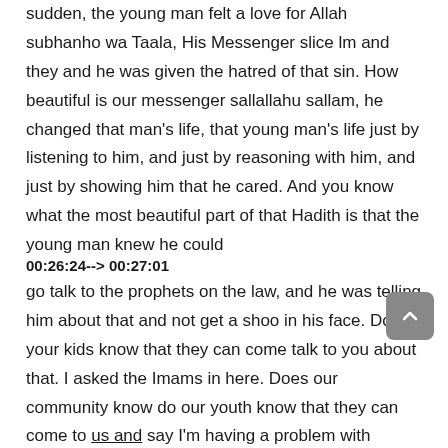sudden, the young man felt a love for Allah subhanho wa Taala, His Messenger slice lm and they and he was given the hatred of that sin. How beautiful is our messenger sallallahu sallam, he changed that man's life, that young man's life just by listening to him, and just by reasoning with him, and just by showing him that he cared. And you know what the most beautiful part of that Hadith is that the young man knew he could
00:26:24--> 00:27:01
go talk to the prophets on the law, and he was telling him about that and not get a shoo in his face. Do your kids know that they can come talk to you about that. I asked the Imams in here. Does our community know do our youth know that they can come to us and say I'm having a problem with drugs? I'm having doubts about my